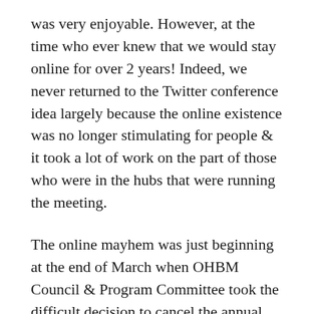was very enjoyable. However, at the time who ever knew that we would stay online for over 2 years! Indeed, we never returned to the Twitter conference idea largely because the online existence was no longer stimulating for people & it took a lot of work on the part of those who were in the hubs that were running the meeting.
The online mayhem was just beginning at the end of March when OHBM Council & Program Committee took the difficult decision to cancel the annual face-to-face OHBM meeting in Montreal & go fully online. It was time to buckle seatbelts & go on one very crazy ride... EVERYONE worked like maniacs to get the